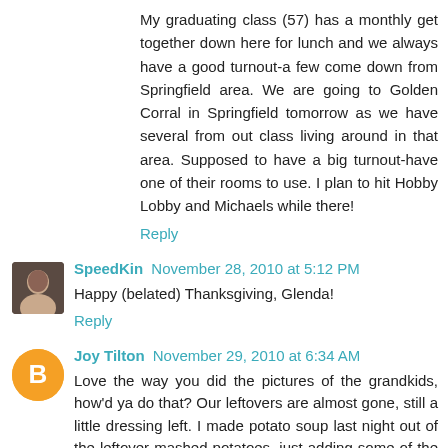My graduating class (57) has a monthly get together down here for lunch and we always have a good turnout-a few come down from Springfield area. We are going to Golden Corral in Springfield tomorrow as we have several from out class living around in that area. Supposed to have a big turnout-have one of their rooms to use. I plan to hit Hobby Lobby and Michaels while there!
Reply
SpeedKin November 28, 2010 at 5:12 PM
Happy (belated) Thanksgiving, Glenda!
Reply
Joy Tilton November 29, 2010 at 6:34 AM
Love the way you did the pictures of the grandkids, how'd ya do that? Our leftovers are almost gone, still a little dressing left. I made potato soup last night out of the leftover mashed potatoes, just adding some of the leftover